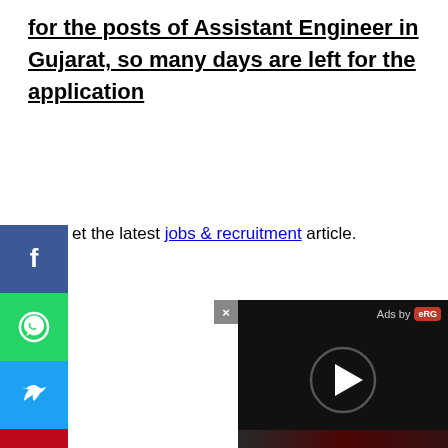for the posts of Assistant Engineer in Gujarat, so many days are left for the application
Get the latest jobs & recruitment article.
[Figure (screenshot): Social media share buttons: Facebook (blue), WhatsApp (green), Twitter (blue), Pinterest (red)]
[Figure (screenshot): Ad overlay with close button (x), 'Ads by eRG' label, and a play button on black background]